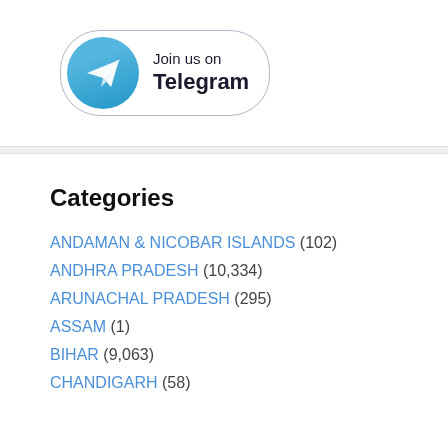[Figure (logo): Telegram 'Join us on Telegram' button with blue circular icon and paper plane, bordered rounded rectangle]
Categories
ANDAMAN & NICOBAR ISLANDS (102)
ANDHRA PRADESH (10,334)
ARUNACHAL PRADESH (295)
ASSAM (1)
BIHAR (9,063)
CHANDIGARH (58)